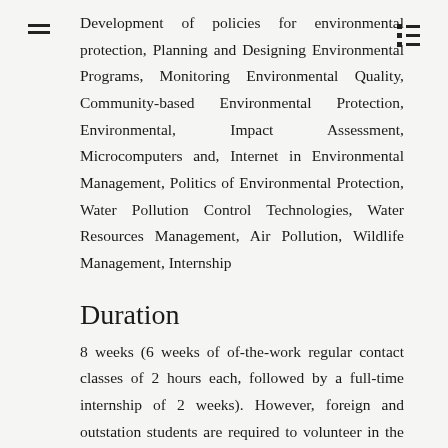Development of policies for environmental protection, Planning and Designing Environmental Programs, Monitoring Environmental Quality, Community-based Environmental Protection, Environmental, Impact Assessment, Microcomputers and, Internet in Environmental Management, Politics of Environmental Protection, Water Pollution Control Technologies, Water Resources Management, Air Pollution, Wildlife Management, Internship
Duration
8 weeks (6 weeks of of-the-work regular contact classes of 2 hours each, followed by a full-time internship of 2 weeks). However, foreign and outstation students are required to volunteer in the HDI-assigned institutions and activities as full-timers